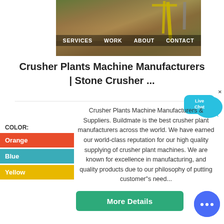[Figure (photo): Aerial/ground view of a crusher plant / stone crushing machinery with yellow structural framework, conveyor belts and industrial equipment on a dirt ground]
SERVICES   WORK   ABOUT   CONTACT
Crusher Plants Machine Manufacturers | Stone Crusher ...
[Figure (other): Live Chat speech bubble button in cyan/teal color with 'Live Chat' text and an X close button]
Crusher Plants Machine Manufacturers & Suppliers. Buildmate is the best crusher plant manufacturers across the world. We have earned our world-class reputation for our high quality supplying of crusher plant machines. We are known for excellence in manufacturing, and quality products due to our philosophy of putting customer"s need...
COLOR:
Orange
Blue
Yellow
More Details
[Figure (other): Circular blue chat bot / messenger button with ellipsis icon]